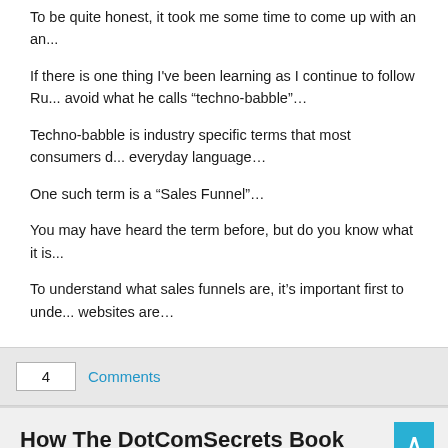To be quite honest, it took me some time to come up with an an...
If there is one thing I've been learning as I continue to follow Ru... avoid what he calls “techno-babble”…
Techno-babble is industry specific terms that most consumers d... everyday language…
One such term is a “Sales Funnel”…
You may have heard the term before, but do you know what it is...
To understand what sales funnels are, it’s important first to unde... websites are…
4 Comments
How The DotComSecrets Book Changed My Life In 2016...